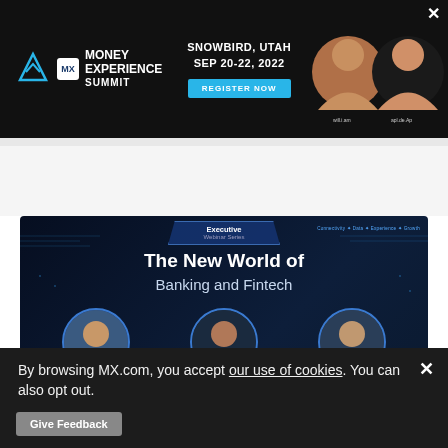[Figure (screenshot): Money Experience Summit banner ad: black background, MX logo, text 'SNOWBIRD, UTAH SEP 20-22, 2022', 'REGISTER NOW' button, photos of will.i.am and apl.de.ap, close X button]
[Figure (screenshot): MX Executive Webinar Series banner: 'The New World of Banking and Fintech' with photos of Ryan Caldwell (Founder & CEO, MX), Jane Barratt (CAO, MX), Brandon DeWitt (Co-Founder & CTO, MX), REGISTER button, MX logo]
By browsing MX.com, you accept our use of cookies. You can also opt out.
Give Feedback